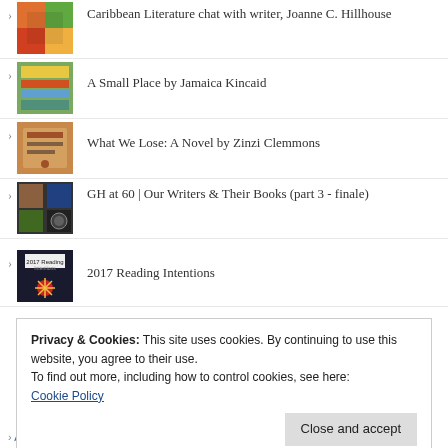Caribbean Literature chat with writer, Joanne C. Hillhouse
A Small Place by Jamaica Kincaid
What We Lose: A Novel by Zinzi Clemmons
GH at 60 | Our Writers & Their Books (part 3 - finale)
2017 Reading Intentions
Privacy & Cookies: This site uses cookies. By continuing to use this website, you agree to their use.
To find out more, including how to control cookies, see here: Cookie Policy
Close and accept
> Alex Elle